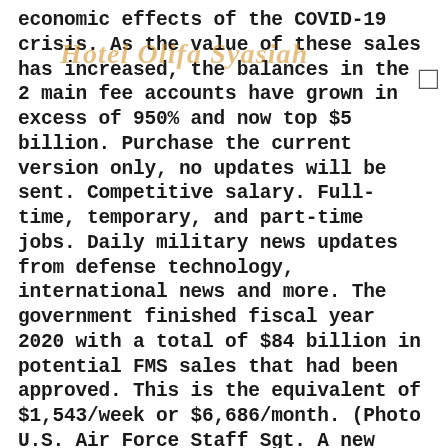economic effects of the COVID-19 crisis. As the value of these sales has increased, the balances in the 2 main fee accounts have grown in excess of 950% and now top $5 billion. Purchase the current version only, no updates will be sent. Competitive salary. Full-time, temporary, and part-time jobs. Daily military news updates from defense technology, international news and more. The government finished fiscal year 2020 with a total of $84 billion in potential FMS sales that had been approved. This is the equivalent of $1,543/week or $6,686/month. (Photo U.S. Air Force Staff Sgt. A new “term of sale” opens the doors to more nations that want to approach the United States about foreign military sales, and that makes the U.S. more competitive in seeking partnerships, the director of the Defense ... â¦ © Copyright Military Leak 2020, All Rights Reserved. Breaking Military News And Defense Technology. Retired Air Force